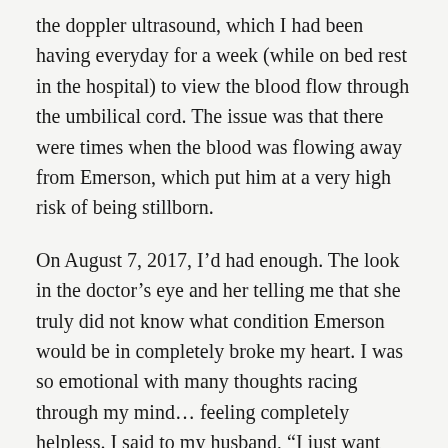the doppler ultrasound, which I had been having everyday for a week (while on bed rest in the hospital) to view the blood flow through the umbilical cord. The issue was that there were times when the blood was flowing away from Emerson, which put him at a very high risk of being stillborn.
On August 7, 2017, I’d had enough. The look in the doctor’s eye and her telling me that she truly did not know what condition Emerson would be in completely broke my heart. I was so emotional with many thoughts racing through my mind… feeling completely helpless. I said to my husband, “I just want this to be over”. I was tired of being in what felt like a holding pattern and I just wanted to know exactly what we would be dealing with one way or the other. Well, God definitely listens because maybe an hour or so after I spoke those words, my obstetrician came in saying she would need to do an